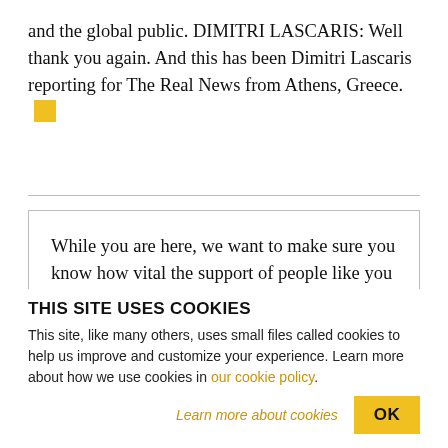and the global public. DIMITRI LASCARIS: Well thank you again. And this has been Dimitri Lascaris reporting for The Real News from Athens, Greece. ■
While you are here, we want to make sure you know how vital the support of people like you is to our work.
THIS SITE USES COOKIES
This site, like many others, uses small files called cookies to help us improve and customize your experience. Learn more about how we use cookies in our cookie policy.
Learn more about cookies   OK